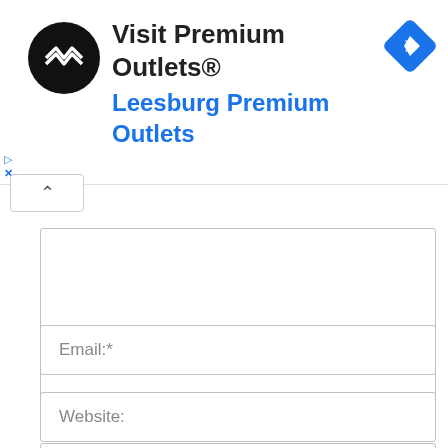[Figure (screenshot): Advertisement banner for 'Visit Premium Outlets® – Leesburg Premium Outlets' with a black circular logo with white arrows on the left, bold text in the center, and a blue diamond navigation icon on the right.]
iment:
[Figure (screenshot): Webpage comment form showing a large textarea for comment input, followed by input fields for Name:*, Email:*, Website:, and a partially visible checkbox row reading 'Save my name, email, and website in this browser for the next']